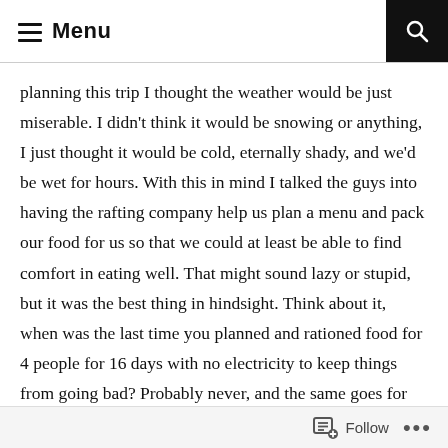Menu
planning this trip I thought the weather would be just miserable.  I didn't think it would be snowing or anything, I just thought it would be cold, eternally shady, and we'd be wet for hours.  With this in mind I talked the guys into having the rafting company help us plan a menu and pack our food for us so that we could at least be able to find comfort in eating well.  That might sound lazy or stupid, but it was the best thing in hindsight.  Think about it, when was the last time you planned and rationed food for 4 people for 16 days with no electricity to keep things from going bad?  Probably never, and the  same goes for me.  These people at the rental house are so damn good at this they basically enable you too eat almost like home, or better, and have ice in your coolers for the whole trip.  They might be the most systematic packers [redacted]
Follow ...